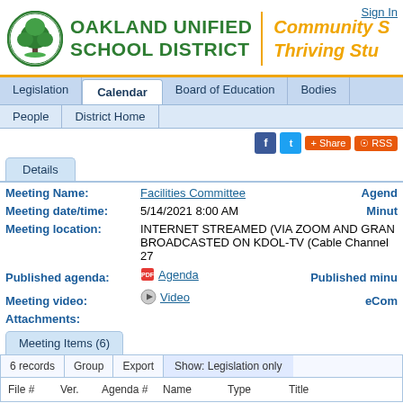Oakland Unified School District | Community Schools, Thriving Students
Sign In
Legislation | Calendar | Board of Education | Bodies | People | District Home
Details tab
Meeting Name: Facilities Committee
Meeting date/time: 5/14/2021 8:00 AM
Meeting location: INTERNET STREAMED (VIA ZOOM AND GRAN... BROADCASTED ON KDOL-TV (Cable Channel 27...
Published agenda: Agenda
Meeting video: Video
Attachments:
Meeting Items (6)
| File # | Ver. | Agenda # | Name | Type | Title |
| --- | --- | --- | --- | --- | --- |